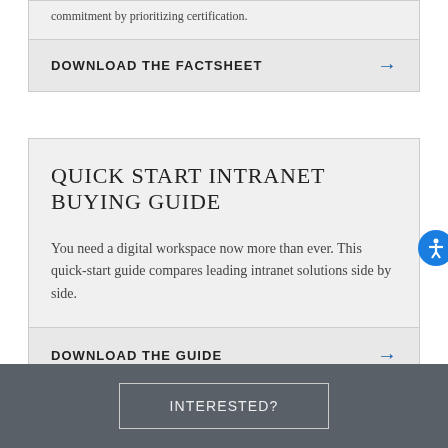commitment by prioritizing certification.
DOWNLOAD THE FACTSHEET →
QUICK START INTRANET BUYING GUIDE
You need a digital workspace now more than ever. This quick-start guide compares leading intranet solutions side by side.
DOWNLOAD THE GUIDE →
INTERESTED?